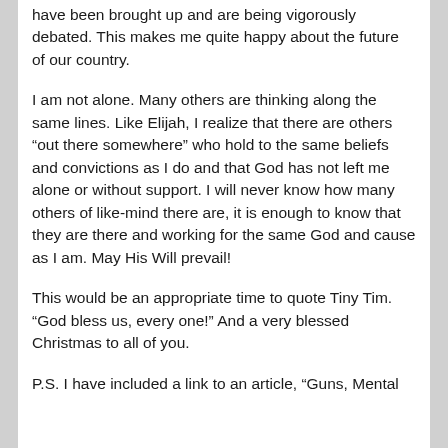have been brought up and are being vigorously debated. This makes me quite happy about the future of our country.
I am not alone. Many others are thinking along the same lines. Like Elijah, I realize that there are others “out there somewhere” who hold to the same beliefs and convictions as I do and that God has not left me alone or without support. I will never know how many others of like-mind there are, it is enough to know that they are there and working for the same God and cause as I am. May His Will prevail!
This would be an appropriate time to quote Tiny Tim. “God bless us, every one!” And a very blessed Christmas to all of you.
P.S. I have included a link to an article, “Guns, Mental